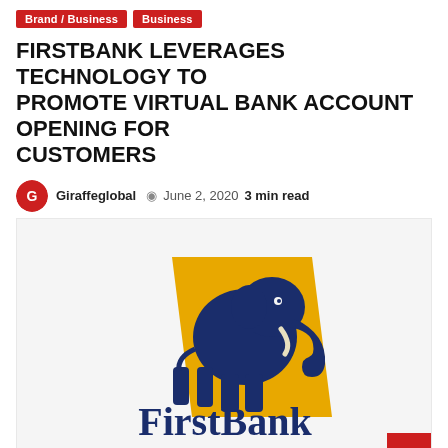Brand / Business | Business
FIRSTBANK LEVERAGES TECHNOLOGY TO PROMOTE VIRTUAL BANK ACCOUNT OPENING FOR CUSTOMERS
Giraffeglobal  June 2, 2020  3 min read
[Figure (logo): FirstBank Nigeria logo: a dark navy blue elephant silhouette on a golden/yellow parallelogram background, with 'FirstBank' text below in dark navy blue serif-style font, and partial text at bottom.]